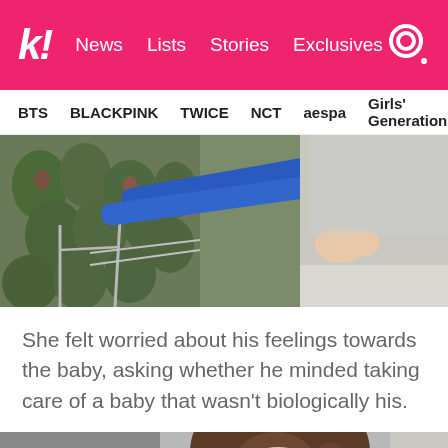k! News  Lists  Stories  Exclusives
BTS  BLACKPINK  TWICE  NCT  aespa  Girls' Generation
[Figure (photo): Person pushing a shopping cart with blue handle near a produce section with green avocados, wearing a grey shirt.]
She felt worried about his feelings towards the baby, asking whether he minded taking care of a baby that wasn't biologically his.
[Figure (photo): Woman with long brown hair, partial view, with equipment visible in background.]